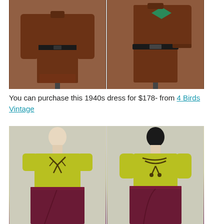[Figure (photo): Two-panel photo of a brown 1940s dress on a mannequin. Left panel shows front view of the brown dress with a black belt and long sleeves. Right panel shows back/side view of the same dress with a teal/green decorative accent on the shoulder.]
You can purchase this 1940s dress for $178- from 4 Birds Vintage
[Figure (photo): Two-panel photo of a 1940s chartreuse/yellow-green top with dark brown decorative stitching/trim at the neckline, paired with a dark maroon/burgundy wrap skirt. Left panel shows front view, right panel shows a slightly different angle showing the decorative bow-like trim detail more clearly.]